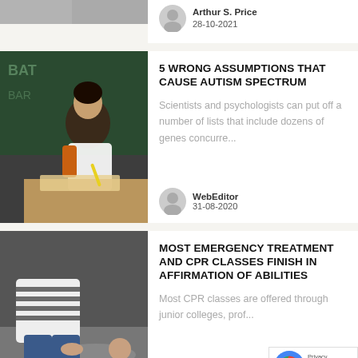[Figure (photo): Partial top image, cropped grayscale photo at top of page]
Arthur S. Price
28-10-2021
[Figure (photo): Child writing at a desk with a yellow pencil, chalkboard in background]
5 WRONG ASSUMPTIONS THAT CAUSE AUTISM SPECTRUM
Scientists and psychologists can put off a number of lists that include dozens of genes concurre...
WebEditor
31-08-2020
[Figure (photo): Person performing CPR or emergency treatment on someone on the floor]
MOST EMERGENCY TREATMENT AND CPR CLASSES FINISH IN AFFIRMATION OF ABILITIES
Most CPR classes are offered through junior colleges, prof...